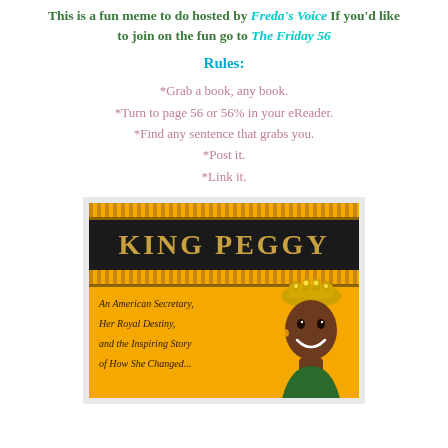This is a fun meme to do hosted by Freda's Voice If you'd like to join on the fun go to The Friday 56
Rules:
*Grab a book, any book.
*Turn to page 56 or 56% in your eReader.
*Find any sentence that grabs you.
*Post it.
*Link it.
[Figure (photo): Book cover of 'King Peggy' — An American Secretary, Her Royal Destiny, and the Inspiring Story of How She Changed... The cover is yellow/gold with a black title band showing 'KING PEGGY' in gold letters, decorative African stripe patterns, subtitle text on the left, and a smiling woman wearing a golden crown on the right side.]